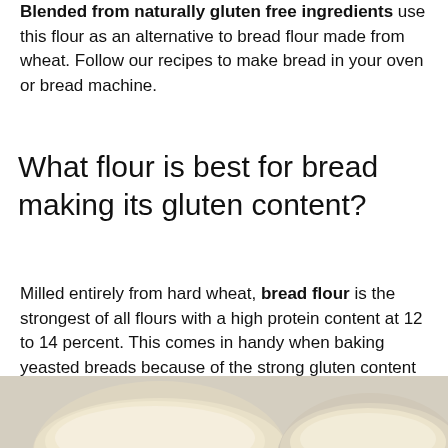Blended from naturally gluten free ingredients use this flour as an alternative to bread flour made from wheat. Follow our recipes to make bread in your oven or bread machine.
What flour is best for bread making its gluten content?
Milled entirely from hard wheat, bread flour is the strongest of all flours with a high protein content at 12 to 14 percent. This comes in handy when baking yeasted breads because of the strong gluten content required to make the bread rise properly.
[Figure (photo): Photo of two measuring cups or bowls filled with flour powder, viewed from above on a light background]